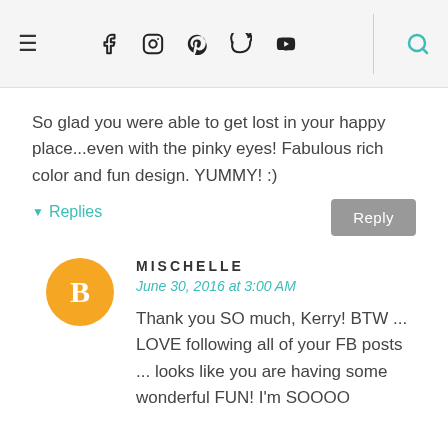≡  f  [instagram]  [pinterest]  [twitter]  [youtube]  [search]
So glad you were able to get lost in your happy place...even with the pinky eyes! Fabulous rich color and fun design. YUMMY! :)
▾ Replies
MISCHELLE
June 30, 2016 at 3:00 AM
Thank you SO much, Kerry! BTW ... LOVE following all of your FB posts ... looks like you are having some wonderful FUN! I'm SOOOO